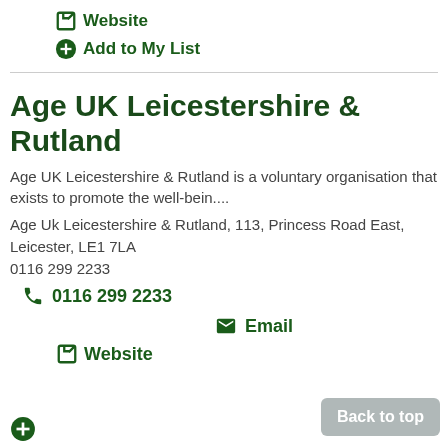Website
Add to My List
Age UK Leicestershire & Rutland
Age UK Leicestershire & Rutland is a voluntary organisation that exists to promote the well-bein....
Age Uk Leicestershire & Rutland, 113, Princess Road East, Leicester, LE1 7LA
0116 299 2233
0116 299 2233
Email
Website